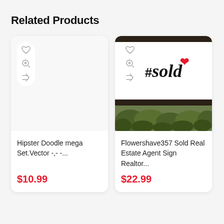Related Products
[Figure (illustration): Product card for Hipster Doodle mega Set.Vector with icons (heart, zoom, shuffle) and placeholder image area. Price: $10.99]
Hipster Doodle mega Set.Vector -,- -...
$10.99
[Figure (photo): Product card for Flowershave357 Sold Real Estate Agent Sign Realtor showing a framed sign with '#sold' in script font and red heart, with greenery below. Price: $22.99]
Flowershave357 Sold Real Estate Agent Sign Realtor...
$22.99